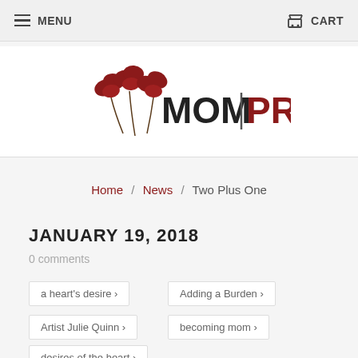MENU   CART
[Figure (logo): Mom Pro logo with red poppy flowers and text MOM | PRO]
Home / News / Two Plus One
JANUARY 19, 2018
0 comments
a heart's desire ›
Adding a Burden ›
Artist Julie Quinn ›
becoming mom ›
desires of the heart ›